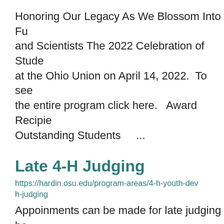Honoring Our Legacy As We Blossom Into Fu and Scientists The 2022 Celebration of Stude at the Ohio Union on April 14, 2022.  To see the entire program click here.   Award Recipie Outstanding Students    ...
Late 4-H Judging
https://hardin.osu.edu/program-areas/4-h-youth-dev h-judging
Appoinments can be made for late judging be August 5, 2022. Late judging will be held at t office during business hours, Monday- Friday p.m.  Those attending late judging are not elg additional awards, but w ...